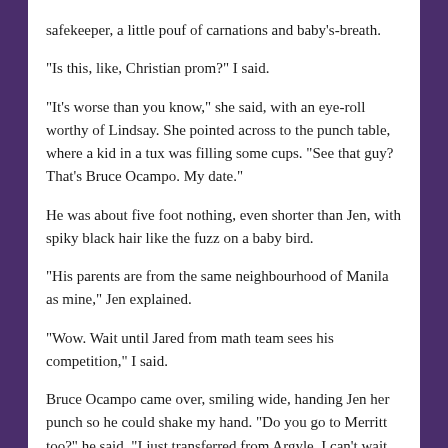safekeeper, a little pouf of carnations and baby's-breath.
"Is this, like, Christian prom?" I said.
"It's worse than you know," she said, with an eye-roll worthy of Lindsay. She pointed across to the punch table, where a kid in a tux was filling some cups. "See that guy? That's Bruce Ocampo. My date."
He was about five foot nothing, even shorter than Jen, with spiky black hair like the fuzz on a baby bird.
"His parents are from the same neighbourhood of Manila as mine," Jen explained.
"Wow. Wait until Jared from math team sees his competition," I said.
Bruce Ocampo came over, smiling wide, handing Jen her punch so he could shake my hand. "Do you go to Merritt too?" he said. "I just transferred from Argyle. I can't wait to try out for the jazz band."
The DJ played kitschy crap from the sixties, and Jen danced with Bruce Ocampo to "Teen Angel," a careful foot between